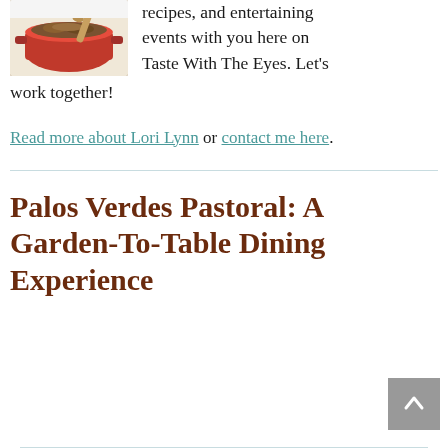[Figure (photo): A cooking pot with ground meat being stirred with a wooden spoon, orange/red pot on stovetop]
recipes, and entertaining events with you here on Taste With The Eyes. Let's work together!
Read more about Lori Lynn or contact me here.
Palos Verdes Pastoral: A Garden-To-Table Dining Experience